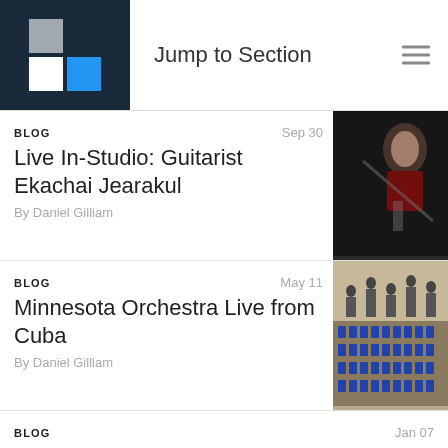Jump to Section
BLOG  Sep 30
Live In-Studio: Guitarist Ekachai Jearakul
By Daniel Gilliam
[Figure (photo): Conductor in dark photo, dramatic lighting]
BLOG  May 11
Minnesota Orchestra Live from Cuba
By Daniel Gilliam
[Figure (photo): Orchestra performing on stage, many musicians with blue music stands]
BLOG  Jan 07
Anne Richardson plays Bach
By Daniel Gilliam
BLOG  Dec 14